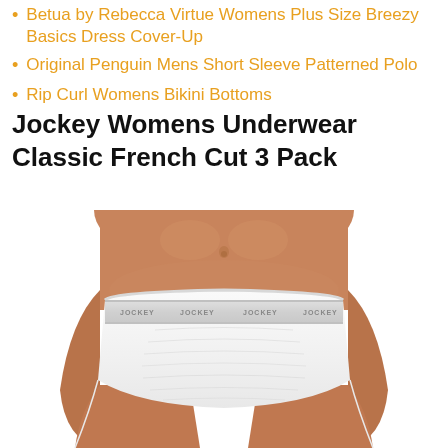Betua by Rebecca Virtue Womens Plus Size Breezy Basics Dress Cover-Up
Original Penguin Mens Short Sleeve Patterned Polo
Rip Curl Womens Bikini Bottoms
Jockey Womens Underwear Classic French Cut 3 Pack
[Figure (photo): Product photo of white Jockey womens classic French cut underwear, showing waist and hip area of a female model wearing white underwear with JOCKEY waistband text visible.]